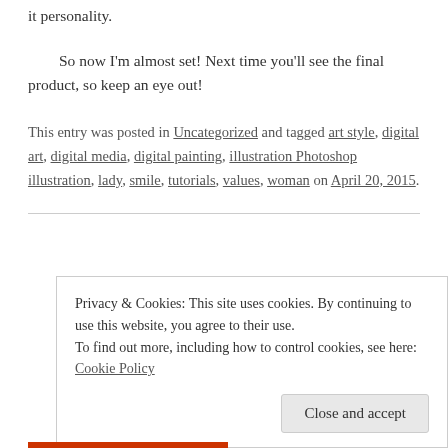it personality.
So now I'm almost set! Next time you'll see the final product, so keep an eye out!
This entry was posted in Uncategorized and tagged art style, digital art, digital media, digital painting, illustration Photoshop illustration, lady, smile, tutorials, values, woman on April 20, 2015.
Privacy & Cookies: This site uses cookies. By continuing to use this website, you agree to their use. To find out more, including how to control cookies, see here: Cookie Policy
Close and accept